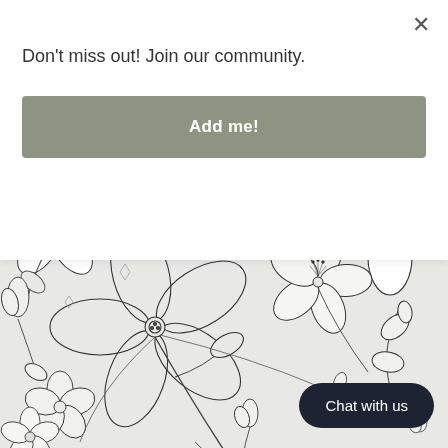Don't miss out! Join our community.
Add me!
[Figure (illustration): Line art floral illustration on light gray background featuring various flowers, buds, leaves and stems in a seamless pattern style]
Chat with us